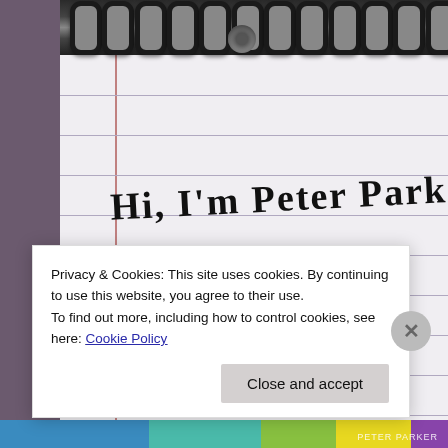[Figure (photo): A spiral-bound notebook with ruled lines, showing handwritten text 'Hi, I'm Peter Parker' on the first visible line and 'Hey, peter' on the second visible line. The notebook has a hole punch visible at the top and spiral binding along the top edge. A purple/mauve side panel is visible on the left side of the image.]
Privacy & Cookies: This site uses cookies. By continuing to use this website, you agree to their use.
To find out more, including how to control cookies, see here: Cookie Policy
Close and accept